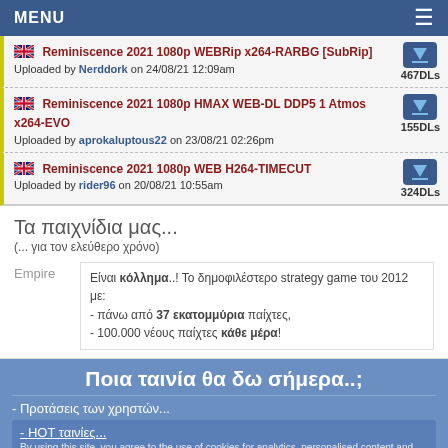MENU
Reminiscence 2021 1080p WEBRip x264-RARBG [SubRip] — Uploaded by Nerddork on 24/08/21 12:09am — 467DLs
Reminiscence 2021 1080p HMAX WEB-DL DDP5 1 Atmos x264-EVO — Uploaded by aprokaluptous22 on 23/08/21 02:26pm — 155DLs
Reminiscence 2021 1080p WEB H264-TIMECUT — Uploaded by rider96 on 20/08/21 10:55am — 324DLs
Τα παιχνίδια μας...
(... για τον ελεύθερο χρόνο)
Empire — Είναι κόλλημα..! Το δημοφιλέστερο strategy game του 2012 με:
- πάνω από 37 εκατομμύρια παίχτες,
- 100.000 νέους παίχτες κάθε μέρα!
Ποια ταινία θα δω σήμερα..;
- Προτάσεις των χρηστών...
- HOT ταινίες...
- Ταινίες με...
By using this site, you agree to the use of cookies for analytics, personalised content and ads. Read more
Τύπος ταινίας: Action  Βαθμολογία: All  Got it!  Έτος: All years